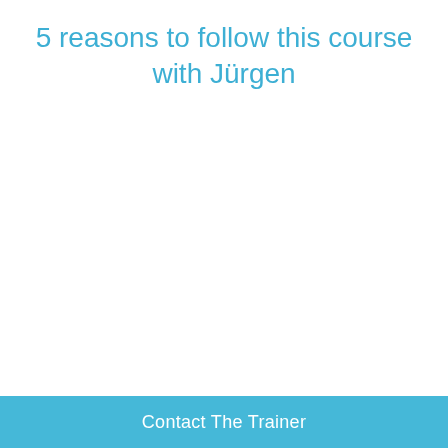5 reasons to follow this course with Jürgen
Contact The Trainer